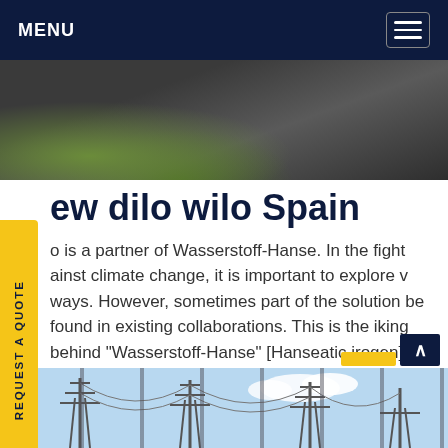MENU
[Figure (photo): Aerial or close-up view of a road/path with green grass border, dark asphalt surface]
REQUEST A QUOTE
ew dilo wilo Spain
o is a partner of Wasserstoff-Hanse. In the fight ainst climate change, it is important to explore v ways. However, sometimes part of the solution be found in existing collaborations. This is the iking behind "Wasserstoff-Hanse" [Hanseatic irogen], which was launched in Rostock on 5 August in the presence of prominentGet price
[Figure (photo): Industrial transmission towers / electrical pylons against a blue sky with clouds]